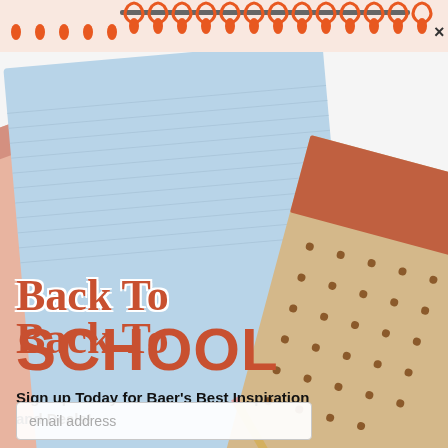[Figure (photo): Back to School promotional popup showing colorful notebooks and stationery (light blue, peach, tan with dots, and terracotta colored notebooks fanned out on a white surface) with a spiral binding decoration at the top and an orange X close button in the corner.]
Back To SCHOOL
Sign up Today for Baer's Best Inspiration and Deals!
email address